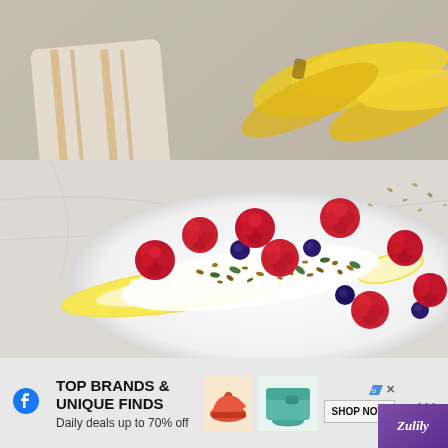[Figure (photo): Food photography showing a banana split-style dessert on a white plate: a halved banana topped with yogurt or cream, fresh raspberries, blueberries, granola, and pumpkin seeds. Background shows bunches of yellow bananas, a striped orange and white cloth, and a marble surface.]
[Figure (infographic): Facebook mobile app advertisement bar at the bottom. Shows Facebook 'f' logo on the left, then bold text 'TOP BRANDS & UNIQUE FINDS' with subtext 'Daily deals up to 70% off', product images of a shoe and a teal wallet/purse, a 'SHOP NOW' button, an AdChoices icon with X button, a Zulily purple logo badge in the bottom right corner, and three dots menu on the far right.]